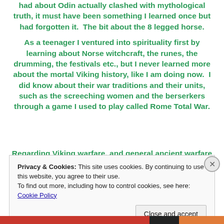had about Odin actually clashed with mythological truth, it must have been something I learned once but had forgotten it.  The bit about the 8 legged horse.

As a teenager I ventured into spirituality first by learning about Norse witchcraft, the runes, the drumming, the festivals etc., but I never learned more about the mortal Viking history, like I am doing now.  I did know about their war traditions and their units, such as the screeching women and the berserkers through a game I used to play called Rome Total War.
Regarding Viking warfare, and general ancient warfare
Privacy & Cookies: This site uses cookies. By continuing to use this website, you agree to their use.
To find out more, including how to control cookies, see here: Cookie Policy
Close and accept